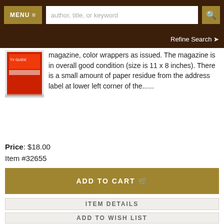MENU | author, title, or keyword | 🔍
Refine Search ❯
[Figure (photo): Thumbnail of a magazine with red and orange cover]
magazine, color wrappers as issued. The magazine is in overall good condition (size is 11 x 8 inches). There is a small amount of paper residue from the address label at lower left corner of the......
Price: $18.00
Item #32655
ADD TO CART 🛒
ITEM DETAILS
ADD TO WISH LIST